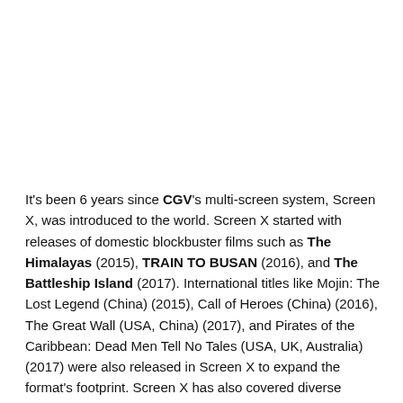It's been 6 years since CGV's multi-screen system, Screen X, was introduced to the world. Screen X started with releases of domestic blockbuster films such as The Himalayas (2015), TRAIN TO BUSAN (2016), and The Battleship Island (2017). International titles like Mojin: The Lost Legend (China) (2015), Call of Heroes (China) (2016), The Great Wall (USA, China) (2017), and Pirates of the Caribbean: Dead Men Tell No Tales (USA, UK, Australia) (2017) were also released in Screen X to expand the format's footprint. Screen X has also covered diverse genres while looking for ways to expand, including documentaries on idol groups such as TVXQ Concert and BIGBANG10 the Movie: BIGBANG MADE, as well as children's movies like Bungaeman (2016). Most recently, children's animation Pororo, Dinosaur Island Adventure (2017) proved Screen X to be a successful medium for young viewers. TRAIN TO BUSAN's director YEON Sang-ho made a noteworthy step in the evolution of Screen X content by preparing his latest film Busanhaing for Screen X theater from the film's planning stage...